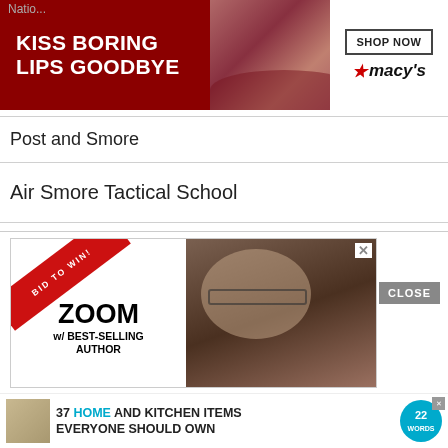Natio...
[Figure (photo): Macy's advertisement banner: 'KISS BORING LIPS GOODBYE' with SHOP NOW button and Macy's star logo, woman with red lips in background]
Post and Smore
Air Smore Tactical School
Australian and New Zealand Army Smore
Marine Smore Air Ground Combat Center Twentynine Palms
[Figure (photo): Advertisement: 'BID TO WIN! ZOOM w/ BEST-SELLING AUTHOR' with close button and man's photo]
[Figure (photo): Bottom banner ad: '37 HOME AND KITCHEN ITEMS EVERYONE SHOULD OWN' with 22 Words badge]